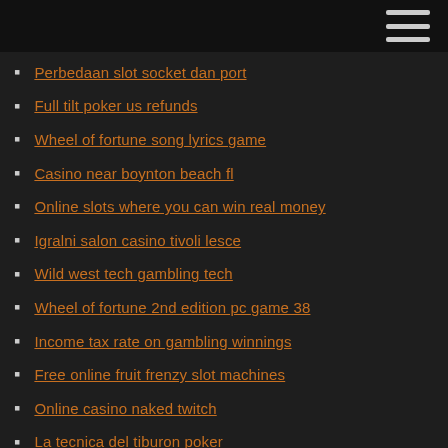Perbedaan slot socket dan port
Full tilt poker us refunds
Wheel of fortune song lyrics game
Casino near boynton beach fl
Online slots where you can win real money
Igralni salon casino tivoli lesce
Wild west tech gambling tech
Wheel of fortune 2nd edition pc game 38
Income tax rate on gambling winnings
Free online fruit frenzy slot machines
Online casino naked twitch
La tecnica del tiburon poker
Fort independence travel plaza casino
Snakes and ladders gambling machine